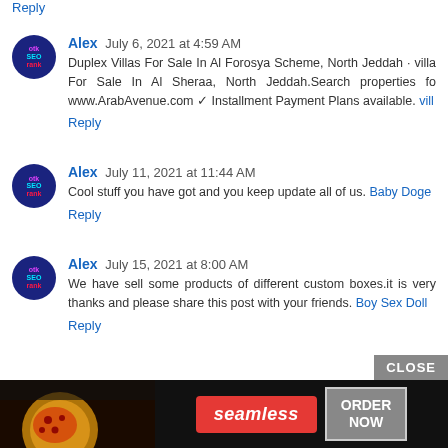Reply
Alex  July 6, 2021 at 4:59 AM
Duplex Villas For Sale In Al Forosya Scheme, North Jeddah · villa For Sale In Al Sheraa, North Jeddah.Search properties fo www.ArabAvenue.com ✓ Installment Payment Plans available. vill
Reply
Alex  July 11, 2021 at 11:44 AM
Cool stuff you have got and you keep update all of us. Baby Doge
Reply
Alex  July 15, 2021 at 8:00 AM
We have sell some products of different custom boxes.it is very thanks and please share this post with your friends. Boy Sex Doll
Reply
[Figure (infographic): Seamless food delivery advertisement banner with pizza image, seamless logo in red, and ORDER NOW button]